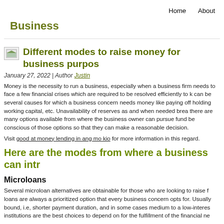Home   About
Business
Different modes to raise money for business purposes
January 27, 2022 | Author Justin
Money is the necessity to run a business, especially when a business firm needs to face a few financial crises which are required to be resolved efficiently to keep the business. There can be several causes for which a business concern needs money like paying off debts, purchasing assets, holding working capital, etc. Unavailability of reserves as and when needed breaks the business, which is why there are many options available from where the business owner can pursue funds, and business owners should be conscious of those options so that they can make a reasonable decision.
Visit good at money lending in ang mo kio for more information in this regard.
Here are the modes from where a business can introduce funds:
Microloans
Several microloan alternatives are obtainable for those who are looking to raise funds for the business. These loans are always a prioritized option that every business concern opts for. Usually, these loans are time-bound, i.e, shorter payment duration, and in some cases medium to a low-interest rate. Government and banking institutions are the best choices to depend on for the fulfillment of the financial needs of the business.